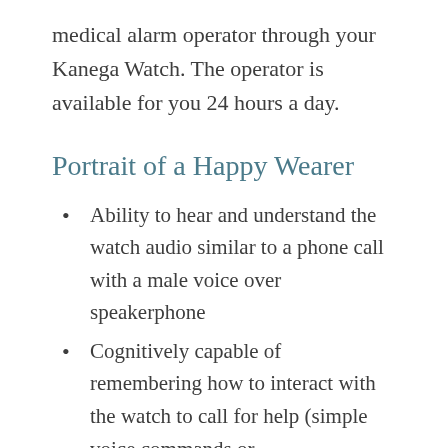medical alarm operator through your Kanega Watch. The operator is available for you 24 hours a day.
Portrait of a Happy Wearer
Ability to hear and understand the watch audio similar to a phone call with a male voice over speakerphone
Cognitively capable of remembering how to interact with the watch to call for help (simple voice commands or